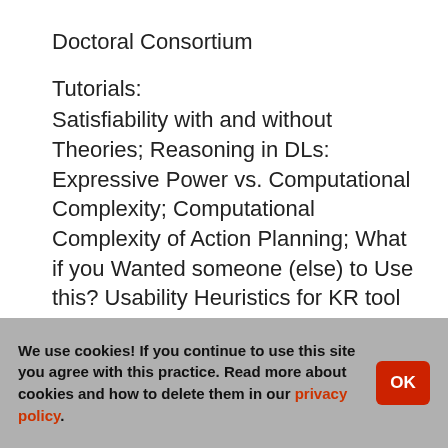Doctoral Consortium
Tutorials:
Satisfiability with and without Theories; Reasoning in DLs: Expressive Power vs. Computational Complexity; Computational Complexity of Action Planning; What if you Wanted someone (else) to Use this? Usability Heuristics for KR tool & representation design
Co-located Workshops/Conferences:
International Workshop on Description Logics (DL); International Workshops on Non-monotonic Reasoning (NMR); International Conference on Autonomous
We use cookies! If you continue to use this site you agree with this practice. Read more about cookies and how to delete them in our privacy policy.